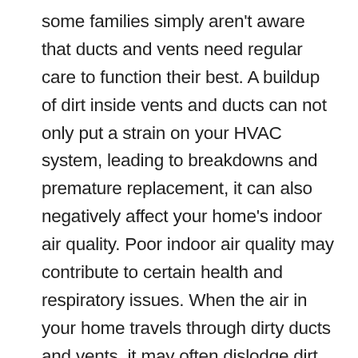some families simply aren't aware that ducts and vents need regular care to function their best. A buildup of dirt inside vents and ducts can not only put a strain on your HVAC system, leading to breakdowns and premature replacement, it can also negatively affect your home's indoor air quality. Poor indoor air quality may contribute to certain health and respiratory issues. When the air in your home travels through dirty ducts and vents, it may often dislodge dirt, dust, pollen, animal dander, and other types of contaminants, carrying them all into your home—and likewise into your lungs. Knowing how to care for and clean your home's vents and ducts may also help improve your home's energy efficiency, as well as